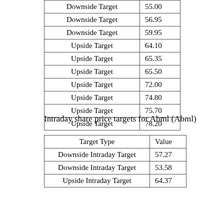| Target Type | Value |
| --- | --- |
| Downside Target | 55.00 |
| Downside Target | 56.95 |
| Downside Target | 59.95 |
| Upside Target | 64.10 |
| Upside Target | 65.35 |
| Upside Target | 65.50 |
| Upside Target | 72.00 |
| Upside Target | 74.80 |
| Upside Target | 75.70 |
| Upside Target | 78.20 |
Intraday share price targets for Abml (Abml)
| Target Type | Value |
| --- | --- |
| Downside Intraday Target | 57.27 |
| Downside Intraday Target | 53.58 |
| Upside Intraday Target | 64.37 |